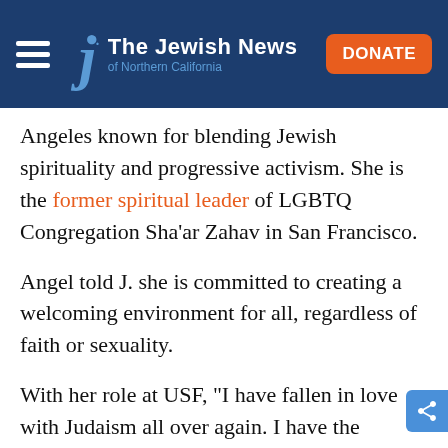The Jewish News of Northern California — header with hamburger menu, logo, and DONATE button
Angeles known for blending Jewish spirituality and progressive activism. She is the former spiritual leader of LGBTQ Congregation Sha’ar Zahav in San Francisco.
Angel told J. she is committed to creating a welcoming environment for all, regardless of faith or sexuality.
With her role at USF, “I have fallen in love with Judaism all over again. I have the opportunity to share its genius, creativity and ability to adapt and be strategic,” Angel says. “I also get to show my students how we ask the hardest questions about